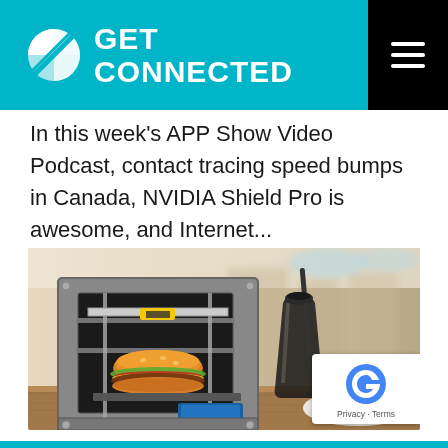GET CONNECTED
In this week's APP Show Video Podcast, contact tracing speed bumps in Canada, NVIDIA Shield Pro is awesome, and Internet...
[Figure (photo): A 3D printer printing a burger/hamburger, with a glass of cola and a plate of french fries on a wooden surface, blurred shopping mall background. reCAPTCHA badge in bottom right corner.]